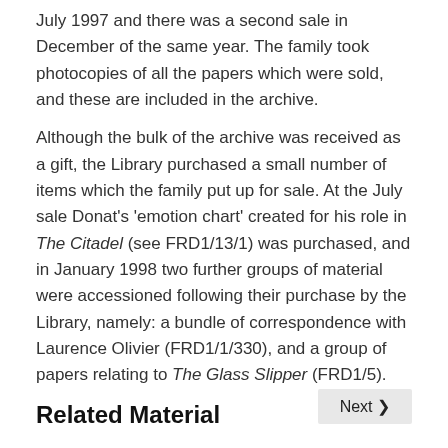July 1997 and there was a second sale in December of the same year. The family took photocopies of all the papers which were sold, and these are included in the archive.
Although the bulk of the archive was received as a gift, the Library purchased a small number of items which the family put up for sale. At the July sale Donat's 'emotion chart' created for his role in The Citadel (see FRD1/13/1) was purchased, and in January 1998 two further groups of material were accessioned following their purchase by the Library, namely: a bundle of correspondence with Laurence Olivier (FRD1/1/330), and a group of papers relating to The Glass Slipper (FRD1/5).
Related Material